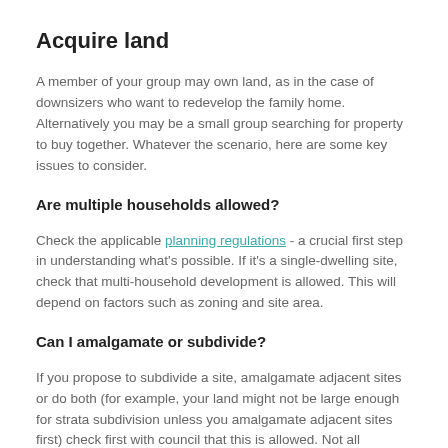Acquire land
A member of your group may own land, as in the case of downsizers who want to redevelop the family home. Alternatively you may be a small group searching for property to buy together. Whatever the scenario, here are some key issues to consider.
Are multiple households allowed?
Check the applicable planning regulations - a crucial first step in understanding what's possible. If it's a single-dwelling site, check that multi-household development is allowed. This will depend on factors such as zoning and site area.
Can I amalgamate or subdivide?
If you propose to subdivide a site, amalgamate adjacent sites or do both (for example, your land might not be large enough for strata subdivision unless you amalgamate adjacent sites first) check first with council that this is allowed. Not all